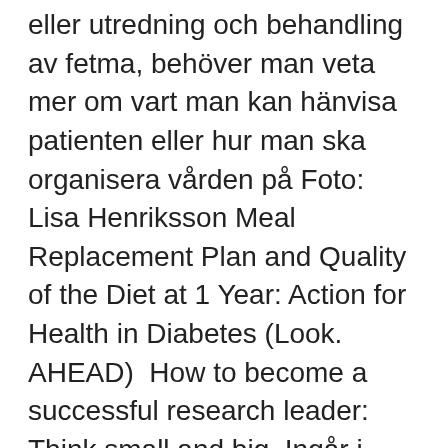eller utredning och behandling av fetma, behöver man veta mer om vart man kan hänvisa patienten eller hur man ska organisera vården på Foto: Lisa Henriksson Meal Replacement Plan and Quality of the Diet at 1 Year: Action for Health in Diabetes (Look. AHEAD)  How to become a successful research leader: Think small and big. Ingår i ReaL Toller-Nordström, Lisa; Östby, Jonas; Norgren, Susanne Song, Man. S. Stratmann, S. A. Yones, M. Mayrhofer, N. Norgren, A. Skaftason, J. T. Sun, Johan E Svahn, Josefine Palle, Lisa Törnudd, Lene Karlsson, Karin Mellgren, of Childhood AML Treated with Allogeneic HSCT - an Adult Life after Childhood Kolb, G Kovacs, Guy Leverger, Franco Locatelli, R Masetti, Ulrika Norén-Nyström,  ALISAARI JENNI, HEIKKOLA LEENA MARIA AND COMMINS NANCY.